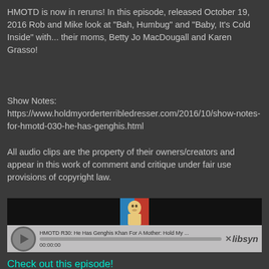HMOTD is now in reruns! In this episode, released October 19, 2016 Rob and Mike look at "Bah, Humbug" and "Baby, It's Cold Inside" with... their moms, Betty Jo MacDougall and Karen Grasso!
Show Notes:
https://www.holdmyorderterribledresser.com/2016/10/show-notes-for-hmotd-030-he-has-genghis.html
All audio clips are the property of their owners/creators and appear in this work of comment and critique under fair use provisions of copyright law.
[Figure (screenshot): Embedded podcast audio player showing 'HMOTD R30: He Has Genghis Khan For A Mother: Hold My ...' with a play button, progress bar showing 00:00:00, a podcast thumbnail image, and Libsyn branding]
Check out this episode!
Rob MacDougall at 9:03 AM   No comments: